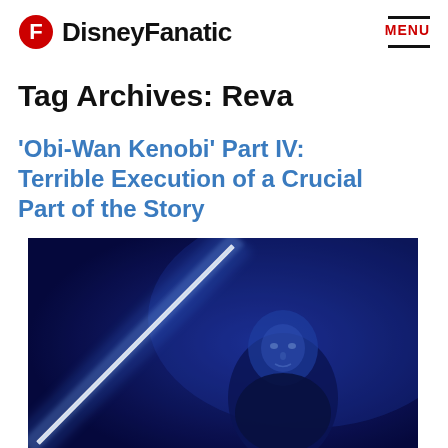DisneyFanatic | MENU
Tag Archives: Reva
'Obi-Wan Kenobi' Part IV: Terrible Execution of a Crucial Part of the Story
[Figure (photo): A figure bathed in blue light holding a glowing lightsaber against a dark blue background, appearing to be a still from the Obi-Wan Kenobi series.]
Overall Fanatic Rating: 4.5/10  Warning: